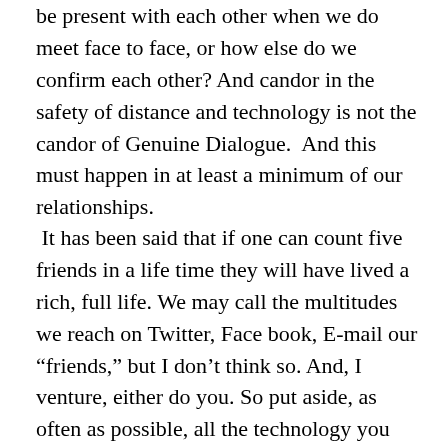be present with each other when we do meet face to face, or how else do we confirm each other? And candor in the safety of distance and technology is not the candor of Genuine Dialogue.  And this must happen in at least a minimum of our relationships.
It has been said that if one can count five friends in a life time they will have lived a rich, full life. We may call the multitudes we reach on Twitter, Face book, E-mail our “friends,” but I don’t think so. And, I venture, either do you. So put aside, as often as possible, all the technology you are using, and begin anew with your truly select friends, a dialogue that is genuine. Be with each other when with each other, show respect for the uniqueness that is